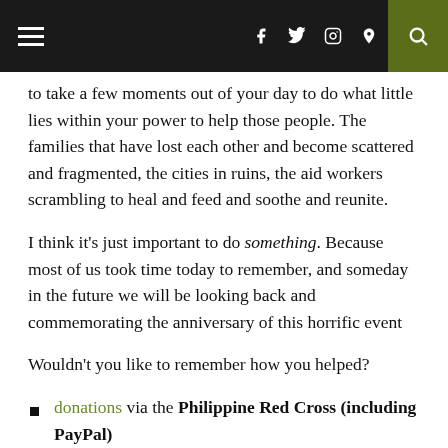≡  f  🐦  📷  🅟  🔍
to take a few moments out of your day to do what little lies within your power to help those people. The families that have lost each other and become scattered and fragmented, the cities in ruins, the aid workers scrambling to heal and feed and soothe and reunite.
I think it's just important to do something. Because most of us took time today to remember, and someday in the future we will be looking back and commemorating the anniversary of this horrific event
Wouldn't you like to remember how you helped?
donations via the Philippine Red Cross (including PayPal)
donations via Habitat for Humanity
donations via ANCOP Foundation USA